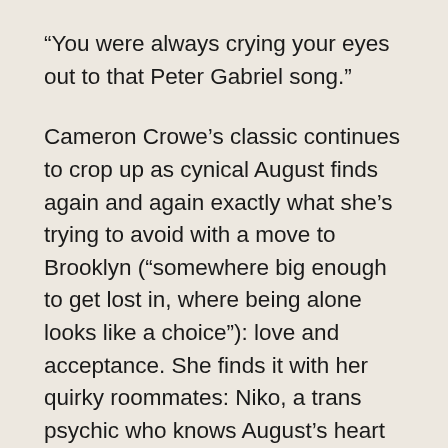“You were always crying your eyes out to that Peter Gabriel song.”
Cameron Crowe’s classic continues to crop up as cynical August finds again and again exactly what she’s trying to avoid with a move to Brooklyn (“somewhere big enough to get lost in, where being alone looks like a choice”): love and acceptance. She finds it with her quirky roommates: Niko, a trans psychic who knows August’s heart before August knows she has one; his girlfriend, Myla, an eccentric sculptor who works in